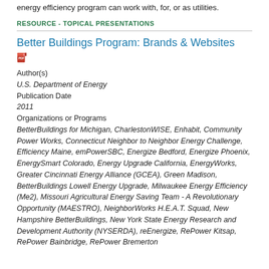energy efficiency program can work with, for, or as utilities.
RESOURCE - TOPICAL PRESENTATIONS
Better Buildings Program: Brands & Websites
Author(s)
U.S. Department of Energy
Publication Date
2011
Organizations or Programs
BetterBuildings for Michigan, CharlestonWISE, Enhabit, Community Power Works, Connecticut Neighbor to Neighbor Energy Challenge, Efficiency Maine, emPowerSBC, Energize Bedford, Energize Phoenix, EnergySmart Colorado, Energy Upgrade California, EnergyWorks, Greater Cincinnati Energy Alliance (GCEA), Green Madison, BetterBuildings Lowell Energy Upgrade, Milwaukee Energy Efficiency (Me2), Missouri Agricultural Energy Saving Team - A Revolutionary Opportunity (MAESTRO), NeighborWorks H.E.A.T. Squad, New Hampshire BetterBuildings, New York State Energy Research and Development Authority (NYSERDA), reEnergize, RePower Kitsap, RePower Bainbridge, RePower Bremerton